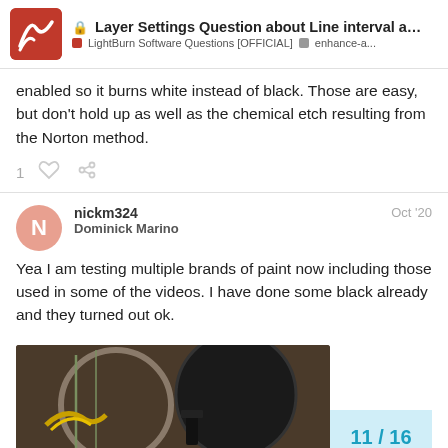Layer Settings Question about Line interval an... | LightBurn Software Questions [OFFICIAL] | enhance-a...
enabled so it burns white instead of black. Those are easy, but don't hold up as well as the chemical etch resulting from the Norton method.
nickm324
Dominick Marino
Oct '20
Yea I am testing multiple brands of paint now including those used in some of the videos. I have done some black already and they turned out ok.
[Figure (photo): Dark photo showing what appears to be laser-engraved objects, with a page navigation overlay showing 11/16]
11 / 16